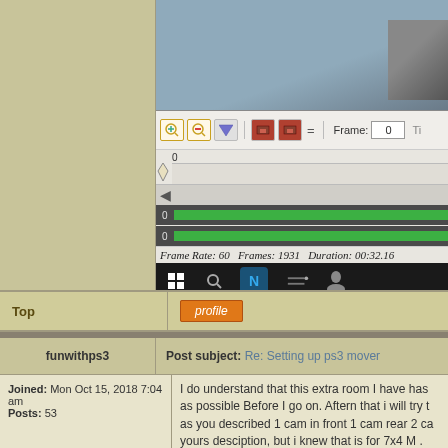[Figure (screenshot): Screenshot of a video/animation editor showing a 3D grid floor scene, toolbar with zoom icons, Frame counter showing 0, timeline with green tracks, Frame Rate: 60, Frames: 1931, Duration: 00:32.16, and Windows taskbar]
spin the floor grid square D.jpg [ 494.06 KiB | Viewed
Top
[Figure (other): Orange 'profile' button]
funwithps3
Post subject: Re: Setting up ps3 mover
Joined: Mon Oct 15, 2018 7:04 am
Posts: 53
I do understand that this extra room I have has as possible Before I go on. Aftern that i will try t as you described 1 cam in front 1 cam rear 2 ca yours desciption, but i knew that is for 7x4 M .